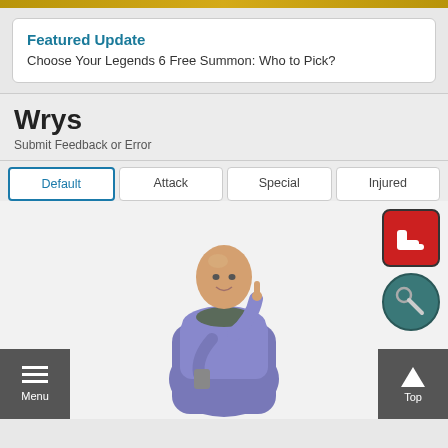Featured Update
Choose Your Legends 6 Free Summon: Who to Pick?
Wrys
Submit Feedback or Error
Default
Attack
Special
Injured
[Figure (illustration): Character illustration of Wrys, a bald elderly monk in blue robes, holding a small figure and pointing upward with one finger. Two UI icons visible: a red square icon with a boot/foot symbol, and a teal circular icon with a tool symbol.]
Menu
Top